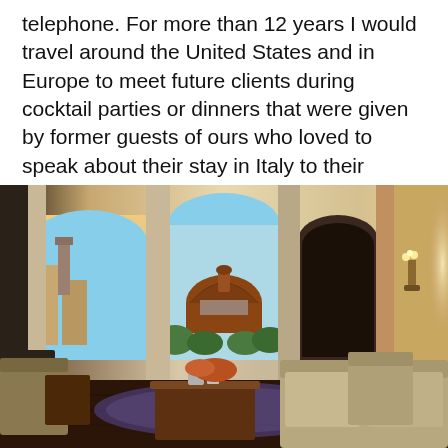telephone. For more than 12 years I would travel around the United States and in Europe to meet future clients during cocktail parties or dinners that were given by former guests of ours who loved to speak about their stay in Italy to their friends and families.
[Figure (photo): Interior of an elegant Italian hotel lounge with arched doorways and windows. Through the central arch, the dome of Florence Cathedral (Brunelleschi's Dome) is visible. The room features warm beige walls, ornate moldings, upholstered armchairs and sofas, a wooden coffee table with flowers and silver items, a patterned rug, and a wall sconce with candle lights on the right. The scene is bathed in golden afternoon light.]